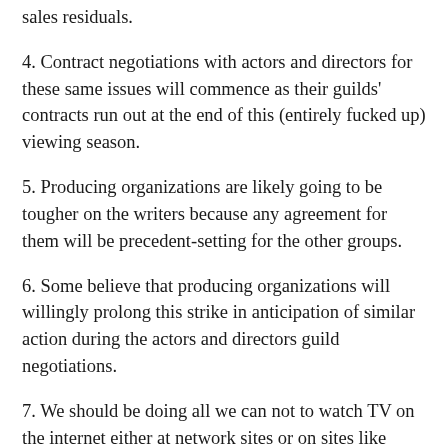sales residuals.
4. Contract negotiations with actors and directors for these same issues will commence as their guilds' contracts run out at the end of this (entirely fucked up) viewing season.
5. Producing organizations are likely going to be tougher on the writers because any agreement for them will be precedent-setting for the other groups.
6. Some believe that producing organizations will willingly prolong this strike in anticipation of similar action during the actors and directors guild negotiations.
7. We should be doing all we can not to watch TV on the internet either at network sites or on sites like iTunes, buy new DVDs & go to first run movies until this dispute is fairly settled. I wish I'd said just this much before we were so far into the holiday shopping season.
8. The networks will be increasing the number of game and reality shows they put on as their written shows run out. We